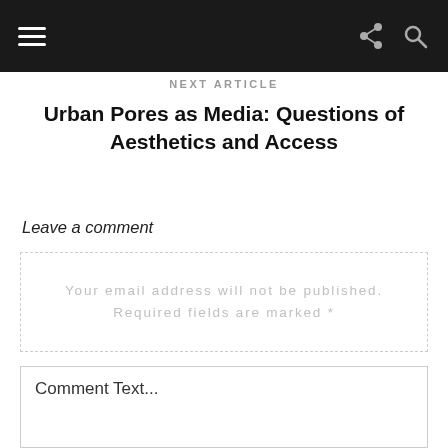Next article
Urban Pores as Media: Questions of Aesthetics and Access
Leave a comment
Your email address will not be published. Required fields are marked *
Comment Text...